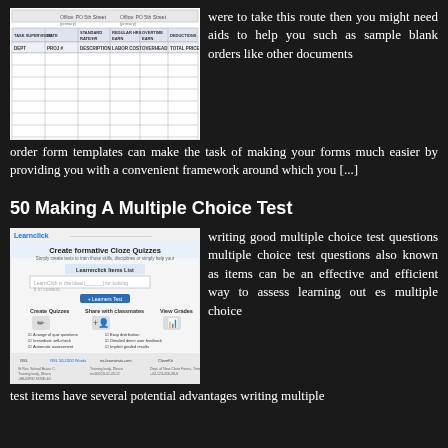[Figure (screenshot): Screenshot of a blank order form template with table columns]
were to take this route then you might need aids to help you such as sample blank orders like other documents order form templates can make the task of making your forms much easier by providing you with a convenient framework around which you [...]
50 Making A Multiple Choice Test
[Figure (screenshot): Screenshot of Learnclick website showing Create formative Cloze Quizzes interface with Learning Item List]
writing good multiple choice test questions multiple choice test questions also known as items can be an effective and efficient way to assess learning out es multiple choice test items have several potential advantages writing multiple